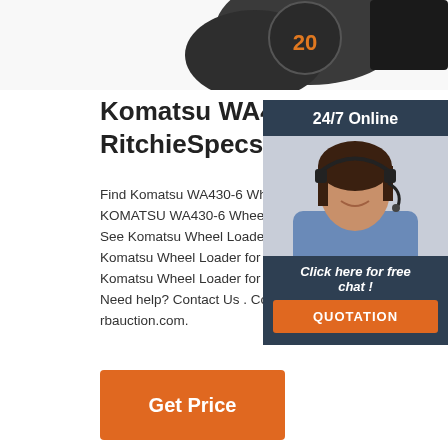[Figure (photo): Partial image of a Komatsu wheel loader machine, showing a circular element with orange '20' text, cropped at the top of the page.]
Komatsu WA430-6 Wheel Loader RitchieSpecs
Find Komatsu WA430-6 Wheel Loader for Sale. KOMATSU WA430-6 Wheel Loader. 0 EDMON... See Komatsu Wheel Loader for sale rbauction... Komatsu Wheel Loader for sale ironplanet.com... Komatsu Wheel Loader for sale mascus.com... Need help? Contact Us . Company . About Rit... rbauction.com.
[Figure (photo): Online chat widget showing a woman with headset smiling, with '24/7 Online' header, 'Click here for free chat!' text, and an orange QUOTATION button.]
Get Price